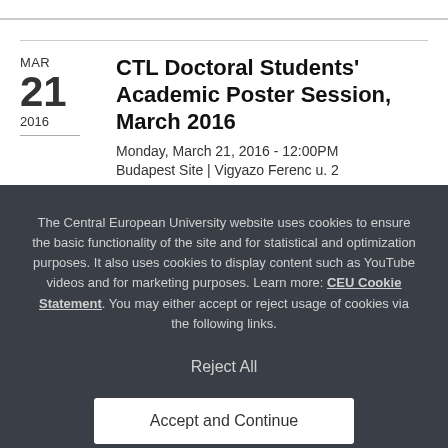CTL Doctoral Students' Academic Poster Session, March 2016
Monday, March 21, 2016 - 12:00PM
Budapest Site | Vigyazo Ferenc u. 2
The Central European University website uses cookies to ensure the basic functionality of the site and for statistical and optimization purposes. It also uses cookies to display content such as YouTube videos and for marketing purposes. Learn more: CEU Cookie Statement. You may either accept or reject usage of cookies via the following links.
Reject All
Accept and Continue